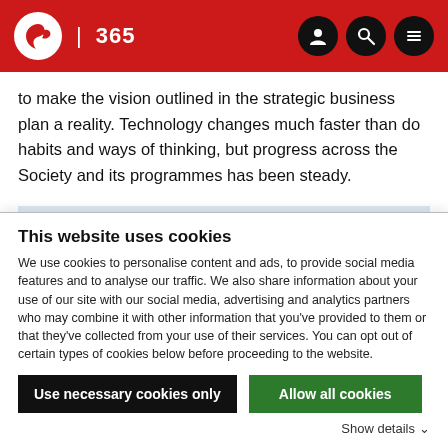IBC 365
to make the vision outlined in the strategic business plan a reality. Technology changes much faster than do habits and ways of thinking, but progress across the Society and its programmes has been steady.

Anyone interested in the work SMPTE is doing is welcome to learn more. The Society is present on social media, at
This website uses cookies
We use cookies to personalise content and ads, to provide social media features and to analyse our traffic. We also share information about your use of our site with our social media, advertising and analytics partners who may combine it with other information that you've provided to them or that they've collected from your use of their services. You can opt out of certain types of cookies below before proceeding to the website.
Use necessary cookies only
Allow all cookies
Show details